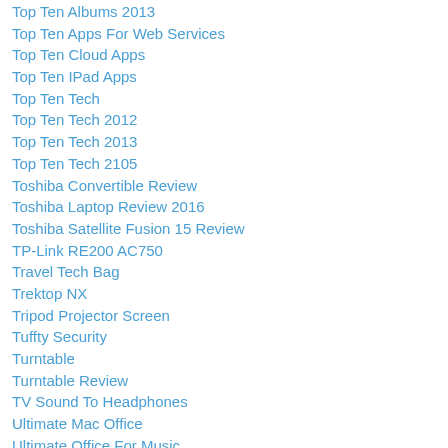Top Ten Albums 2013
Top Ten Apps For Web Services
Top Ten Cloud Apps
Top Ten IPad Apps
Top Ten Tech
Top Ten Tech 2012
Top Ten Tech 2013
Top Ten Tech 2105
Toshiba Convertible Review
Toshiba Laptop Review 2016
Toshiba Satellite Fusion 15 Review
TP-Link RE200 AC750
Travel Tech Bag
Trektop NX
Tripod Projector Screen
Tuffty Security
Turntable
Turntable Review
TV Sound To Headphones
Ultimate Mac Office
Ultimate Office For Music